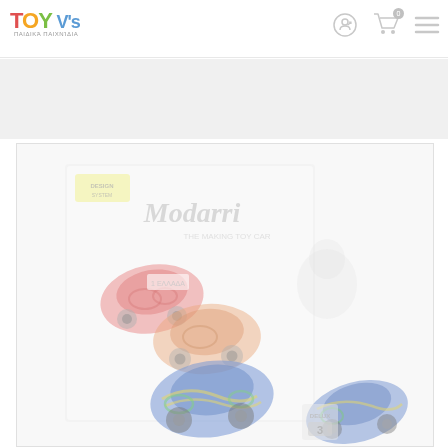Toy V's - Παιδικά παιχνίδια - navigation header with logo, login, cart (0), and menu icons
[Figure (photo): Product photo of Modarri toy car set — packaging box showing multiple colorful toy cars (red, blue, orange) with 'Modarri The Making Toy Car' branding. Deluxe 3-pack. A loose blue/yellow/green toy car is shown in front of the box. Background is white/light gray. Image appears slightly washed out/faded.]